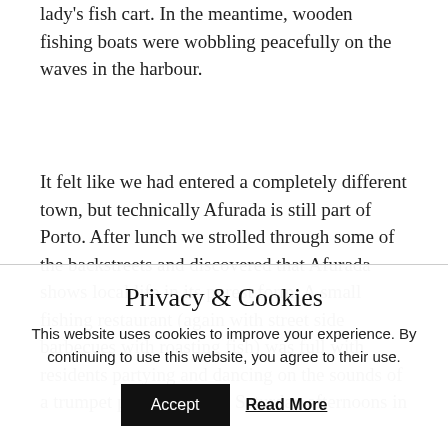lady's fish cart. In the meantime, wooden fishing boats were wobbling peacefully on the waves in the harbour.
It felt like we had entered a completely different town, but technically Afurada is still part of Porto. After lunch we strolled through some of the backstreets and discovered that Afurada shows local life in its purest form. A small fishing restaurant (again with street side barbecues with roasting fish) was full with residents partying and dancing on the sounds of a trumpet player's music. Saturday afternoons in
Privacy & Cookies
This website uses cookies to improve your experience. By continuing to use this website, you agree to their use.